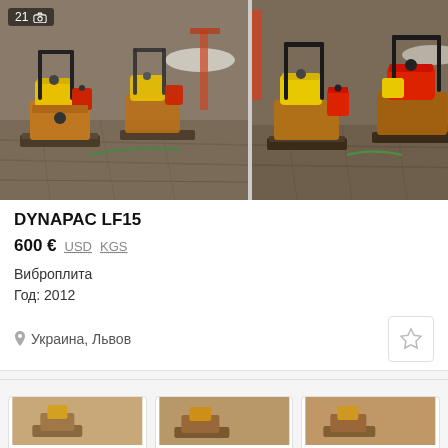[Figure (photo): Two plate compactor machines (Dynapac LF15) with yellow and red fuel tanks on a construction site. Left photo shows badge '21' with camera icon. Right photo shows the same machines from a different angle.]
DYNAPAC LF15
600 € USD KGS
Виброплита
Год: 2012
Украина, Львов
[Figure (photo): Partially visible thumbnail card 1]
[Figure (photo): Partially visible thumbnail card 2]
[Figure (photo): Partially visible thumbnail card 3]